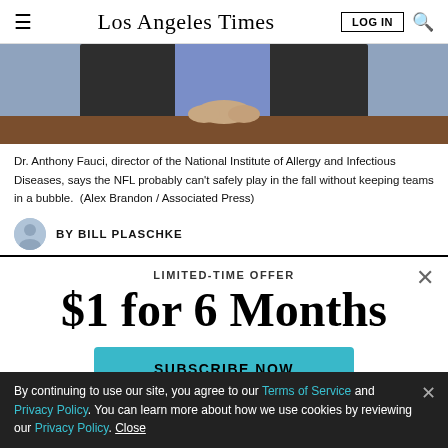Los Angeles Times
[Figure (photo): A person in a dark suit jacket sitting at a desk or podium, hands clasped, in front of a bluish background. The torso and hands are visible but not the face.]
Dr. Anthony Fauci, director of the National Institute of Allergy and Infectious Diseases, says the NFL probably can't safely play in the fall without keeping teams in a bubble.  (Alex Brandon / Associated Press)
BY BILL PLASCHKE
LIMITED-TIME OFFER
$1 for 6 Months
SUBSCRIBE NOW
By continuing to use our site, you agree to our Terms of Service and Privacy Policy. You can learn more about how we use cookies by reviewing our Privacy Policy. Close